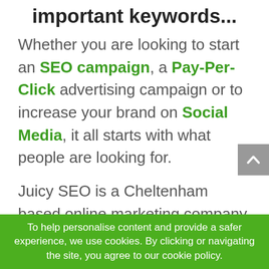important keywords...
Whether you are looking to start an SEO campaign, a Pay-Per-Click advertising campaign or to increase your brand on Social Media, it all starts with what people are looking for.
Juicy SEO is a Cheltenham based online marketing company with
To help personalise content and provide a safer experience, we use cookies. By clicking or navigating the site, you agree to our cookie policy.